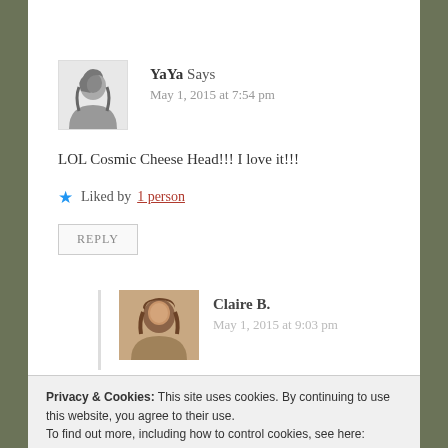[Figure (photo): Grayscale avatar photo of YaYa – woman with dark hair]
YaYa Says
May 1, 2015 at 7:54 pm
LOL Cosmic Cheese Head!!! I love it!!!
★ Liked by 1 person
REPLY
[Figure (photo): Color avatar photo of Claire B. – woman with brown hair]
Claire B.
May 1, 2015 at 9:03 pm
Privacy & Cookies: This site uses cookies. By continuing to use this website, you agree to their use.
To find out more, including how to control cookies, see here: Cookie Policy
Close and accept